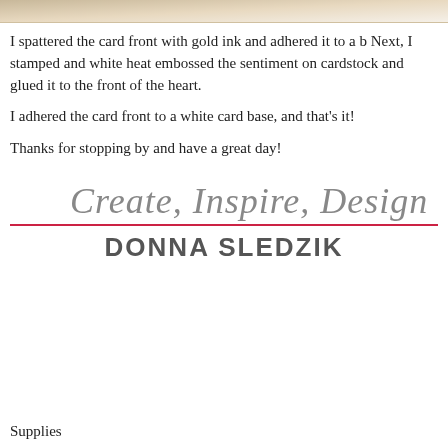[Figure (photo): Decorative tan/brown triangular corner image at the top of the page]
I spattered the card front with gold ink and adhered it to a b Next, I stamped and white heat embossed the sentiment on cardstock and glued it to the front of the heart.
I adhered the card front to a white card base, and that's it!
Thanks for stopping by and have a great day!
[Figure (illustration): Cursive script signature reading 'Create, Inspire, Design' in gray, followed by a red horizontal line and the name DONNA SLEDZIK in bold gray capitals]
Supplies